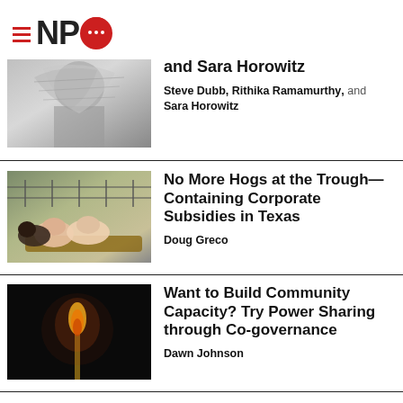[Figure (logo): NPQ logo with hamburger menu lines, bold NP text, and red speech bubble Q with dots]
[Figure (photo): Partial black and white sketch/drawing of a person with head wrapped in cloth or scarf]
and Sara Horowitz
Steve Dubb, Rithika Ramamurthy, and Sara Horowitz
[Figure (photo): Photo of pigs eating at a trough inside a fenced farm area]
No More Hogs at the Trough—Containing Corporate Subsidies in Texas
Doug Greco
[Figure (photo): Dark photo of a lit match or small flame against a black background]
Want to Build Community Capacity? Try Power Sharing through Co-governance
Dawn Johnson